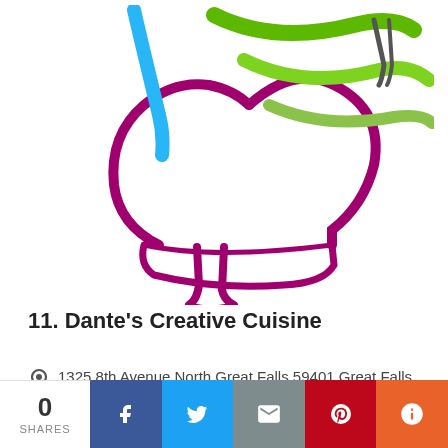[Figure (logo): Chef's hat logo with green swoosh lines and blue accent stripe, in magenta/purple outline style]
11. Dante's Creative Cuisine
1325 8th Avenue North,Great Falls 59401,Great Falls Area
0 SHARES | Facebook | Twitter | Email | Pinterest | More